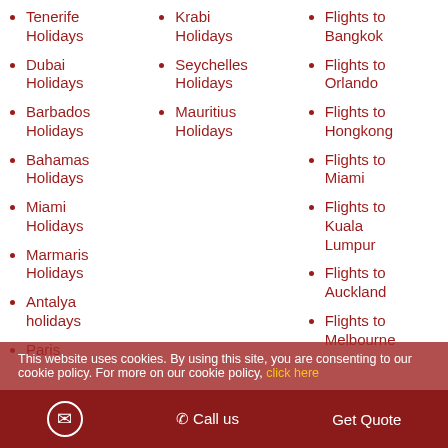Tenerife Holidays
Dubai Holidays
Barbados Holidays
Bahamas Holidays
Miami Holidays
Marmaris Holidays
Antalya holidays
Paris
Krabi Holidays
Seychelles Holidays
Mauritius Holidays
Flights to Bangkok
Flights to Orlando
Flights to Hongkong
Flights to Miami
Flights to Kuala Lumpur
Flights to Auckland
Flights to Melbourne
This website uses cookies. By using this site, you are consenting to our cookie policy. For more on our cookie policy, click here
Call us   Get Quote